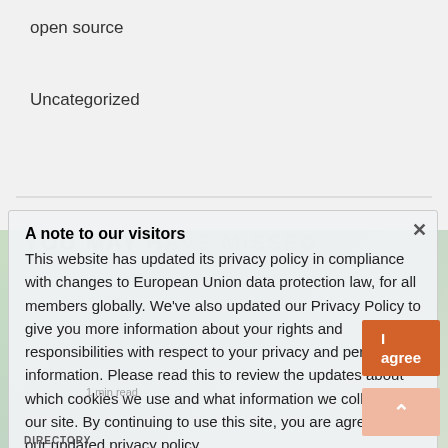open source
Uncategorized
A note to our visitors
This website has updated its privacy policy in compliance with changes to European Union data protection law, for all members globally. We've also updated our Privacy Policy to give you more information about your rights and responsibilities with respect to your privacy and personal information. Please read this to review the updates about which cookies we use and what information we collect on our site. By continuing to use this site, you are agreeing to our updated privacy policy.
DIRECTORY